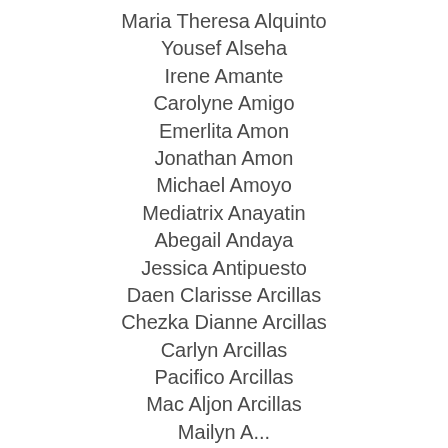Maria Theresa Alquinto
Yousef Alseha
Irene Amante
Carolyne Amigo
Emerlita Amon
Jonathan Amon
Michael Amoyo
Mediatrix Anayatin
Abegail Andaya
Jessica Antipuesto
Daen Clarisse Arcillas
Chezka Dianne Arcillas
Carlyn Arcillas
Pacifico Arcillas
Mac Aljon Arcillas
Mailyn A...